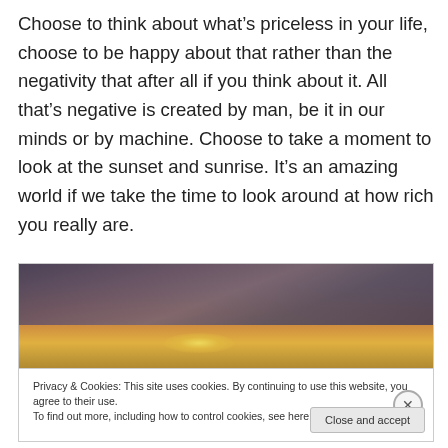Choose to think about what's priceless in your life, choose to be happy about that rather than the negativity that after all if you think about it. All that's negative is created by man, be it in our minds or by machine. Choose to take a moment to look at the sunset and sunrise. It's an amazing world if we take the time to look around at how rich you really are.
[Figure (photo): A photo of a sunset/sunrise sky with dramatic orange and golden light below dark clouds]
Privacy & Cookies: This site uses cookies. By continuing to use this website, you agree to their use.
To find out more, including how to control cookies, see here: Cookie Policy
Close and accept